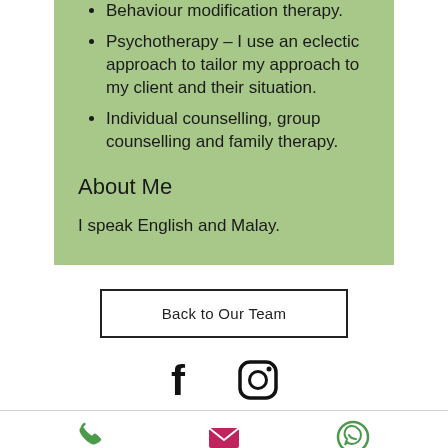Behaviour modification therapy.
Psychotherapy – I use an eclectic approach to tailor my approach to my client and their situation.
Individual counselling, group counselling and family therapy.
About Me
I speak English and Malay.
Back to Our Team
[Figure (illustration): Facebook and Instagram social media icons]
[Figure (illustration): Phone, email, and WhatsApp contact icons in footer bar]